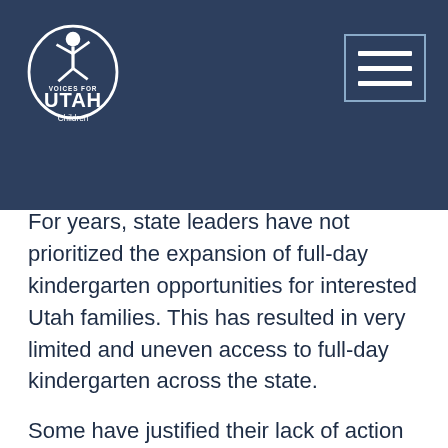Voices for Utah Children
For years, state leaders have not prioritized the expansion of full-day kindergarten opportunities for interested Utah families. This has resulted in very limited and uneven access to full-day kindergarten across the state.
Some have justified their lack of action on full-day kindergarten expansion by saying Utahns just aren't interested in having their children participate. They imply that Utah "culture" doesn't prioritize early education opportunities, instead